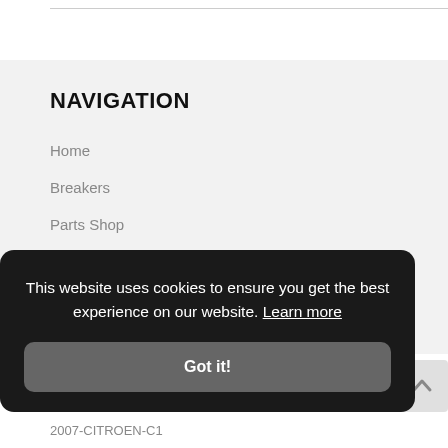NAVIGATION
Home
Breakers
Parts Shop
Vehicle Collection
Terms & Conditions
Damaged Repairables
This website uses cookies to ensure you get the best experience on our website. Learn more
Got it!
2007-CITROEN-C1